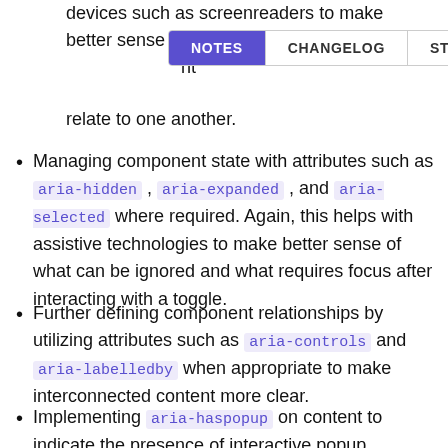devices such as screenreaders to make better sense of what [NOTES | CHANGELOG | STATUS] nt relate to one another.
[Figure (screenshot): Tab bar with three tabs: NOTES (active, purple background), CHANGELOG, STATUS]
Managing component state with attributes such as aria-hidden, aria-expanded, and aria-selected where required. Again, this helps with assistive technologies to make better sense of what can be ignored and what requires focus after interacting with a toggle.
Further defining component relationships by utilizing attributes such as aria-controls and aria-labelledby when appropriate to make interconnected content more clear.
Implementing aria-haspopup on content to indicate the presence of interactive popup elements, such as dropdowns, modals, et cetera.